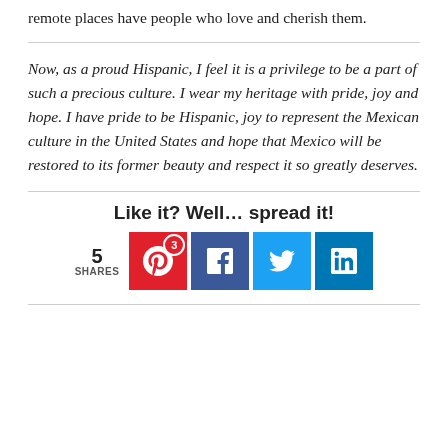remote places have people who love and cherish them.
Now, as a proud Hispanic, I feel it is a privilege to be a part of such a precious culture. I wear my heritage with pride, joy and hope. I have pride to be Hispanic, joy to represent the Mexican culture in the United States and hope that Mexico will be restored to its former beauty and respect it so greatly deserves.
Like it? Well… spread it!
5 SHARES